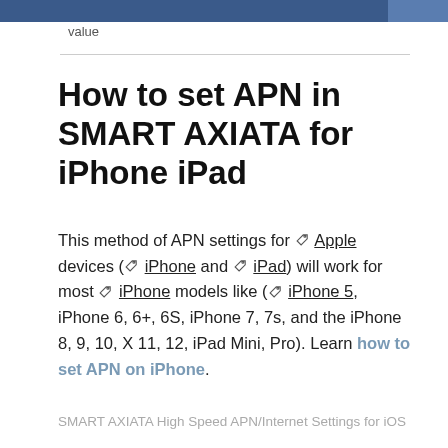value
How to set APN in SMART AXIATA for iPhone iPad
This method of APN settings for Apple devices (iPhone and iPad) will work for most iPhone models like (iPhone 5, iPhone 6, 6+, 6S, iPhone 7, 7s, and the iPhone 8, 9, 10, X 11, 12, iPad Mini, Pro). Learn how to set APN on iPhone.
SMART AXIATA High Speed APN/Internet Settings for iOS